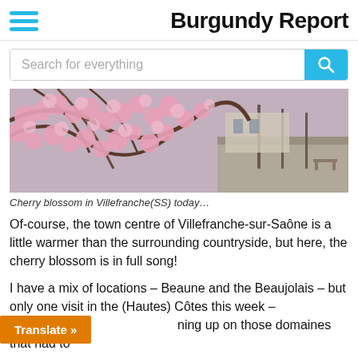Burgundy Report
[Figure (screenshot): Search bar with placeholder text 'Search for everything' and a cyan search button with magnifying glass icon]
[Figure (photo): Cherry blossom trees in full bloom in Villefranche(SS), with pink flowers and branches against a town square background]
Cherry blossom in Villefranche(SS) today…
Of-course, the town centre of Villefranche-sur-Saône is a little warmer than the surrounding countryside, but here, the cherry blossom is in full song!
I have a mix of locations – Beaune and the Beaujolais – but only one visit in the (Hautes) Côtes this week – ning up on those domaines that had to